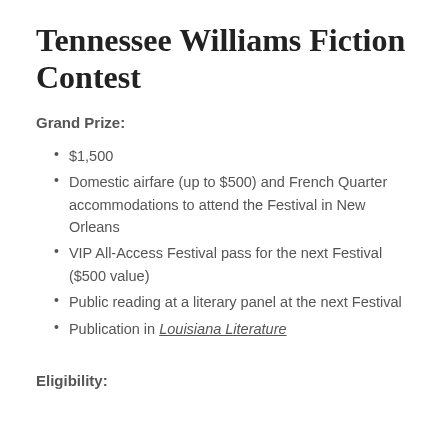Tennessee Williams Fiction Contest
Grand Prize:
$1,500
Domestic airfare (up to $500) and French Quarter accommodations to attend the Festival in New Orleans
VIP All-Access Festival pass for the next Festival ($500 value)
Public reading at a literary panel at the next Festival
Publication in Louisiana Literature
Eligibility: